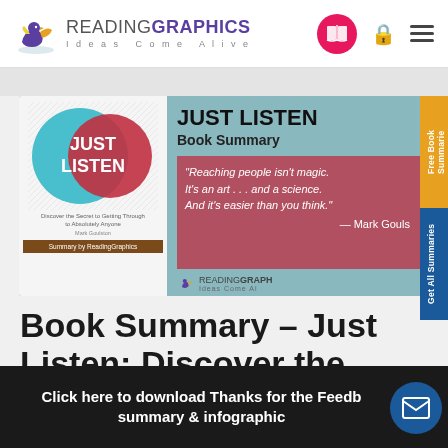READINGRAPHICS – Ideas Come Alive
[Figure (infographic): Book summary banner for 'Just Listen' by Mark Goulston on ReadingGraphics website. Shows book cover with teal and red circles, title 'JUST LISTEN', subtitle 'Book Summary', and a quote: 'Reaching people isn't magic. It's an art... and a science. And it's easier than you think.' — Mark Goulston]
Book Summary – Just Listen: Discover the
Click here to download Thanks for the Feedback summary & infographic